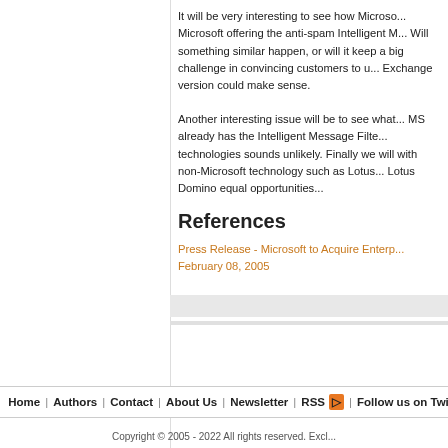It will be very interesting to see how Microsoft offering the anti-spam Intelligent M... Will something similar happen, or will it keep a big challenge in convincing customers to u... Exchange version could make sense.
Another interesting issue will be to see what... MS already has the Intelligent Message Filte... technologies sounds unlikely. Finally we will with non-Microsoft technology such as Lotus... Lotus Domino equal opportunities...
References
Press Release - Microsoft to Acquire Enterp... February 08, 2005
Home | Authors | Contact | About Us | Newsletter | RSS | Follow us on Twit...
Copyright © 2005 - 2022 All rights reserved. Excl...